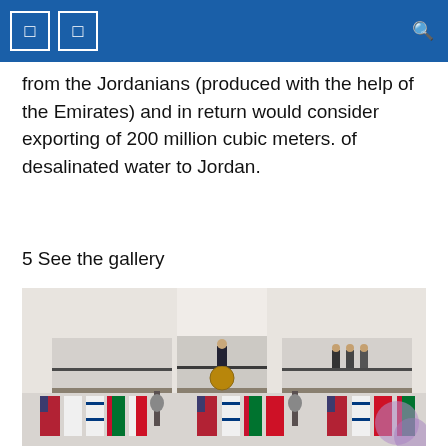from the Jordanians (produced with the help of the Emirates) and in return would consider exporting of 200 million cubic meters. of desalinated water to Jordan.
5 See the gallery
[Figure (photo): White House South Portico ceremony with flags of the US, Israel, UAE, and Bahrain. A figure stands at a podium with the Presidential seal on a balcony, while three other figures stand to the right. Flags are displayed on the lower level.]